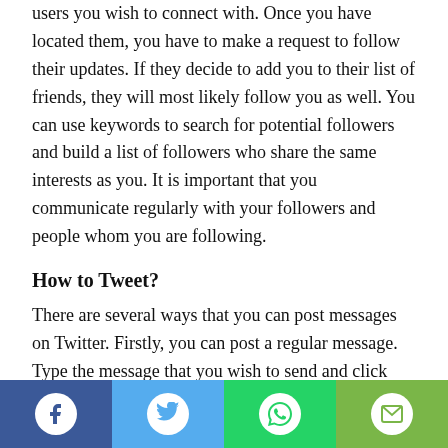users you wish to connect with. Once you have located them, you have to make a request to follow their updates. If they decide to add you to their list of friends, they will most likely follow you as well. You can use keywords to search for potential followers and build a list of followers who share the same interests as you. It is important that you communicate regularly with your followers and people whom you are following.
How to Tweet?
There are several ways that you can post messages on Twitter. Firstly, you can post a regular message. Type the message that you wish to send and click “update”, and it will be viewable to everybody who is following you.
[Figure (infographic): Social sharing bar with four buttons: Facebook (dark blue), Twitter (light blue), WhatsApp (green), Email (yellow-green)]